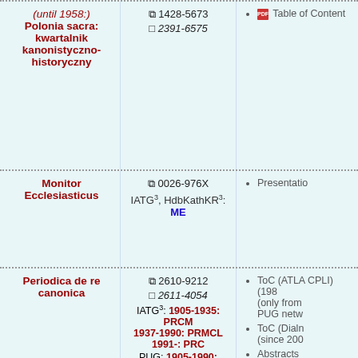| Journal | ISSN / Abbreviations | Resources |
| --- | --- | --- |
| (until 1958:) Polonia sacra: kwartalnik kanonistyczno-historyczny | 1428-5673 / 2391-6575 | Table of Content |
| Monitor Ecclesiasticus | 0026-976X / IATG3, HdbKathKR3: ME | Presentation |
| Periodica de re canonica | 2610-9212 / 2611-4054 / IATG3: 1905-1935: PRCM 1937-1990: PRMCL 1991-: PRC / PUG: 1905-1990: PRCM 1991-: Periodica / HdbKathKR3: 1905-1990: PerRMCL 1991-: PerRCan | ToC (ATLAS CPLI) (1985... (only from PUG netw... / ToC (Dialn (since 200... / Abstracts (since 201... / Presentati... |